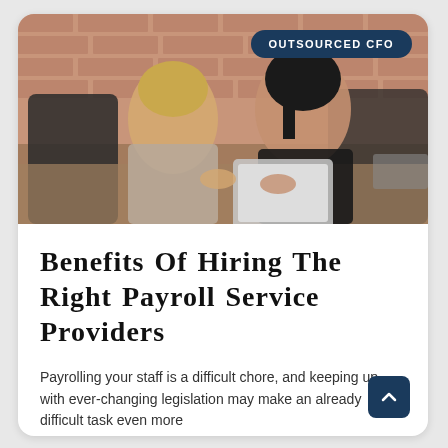[Figure (photo): Two women sitting at a desk in a brick-walled office. One with short blonde hair wearing a patterned blouse, the other with long dark hair in a black blazer, sharing a tablet device. Office chairs visible in background.]
OUTSOURCED CFO
Benefits Of Hiring The Right Payroll Service Providers
Payrolling your staff is a difficult chore, and keeping up with ever-changing legislation may make an already difficult task even more